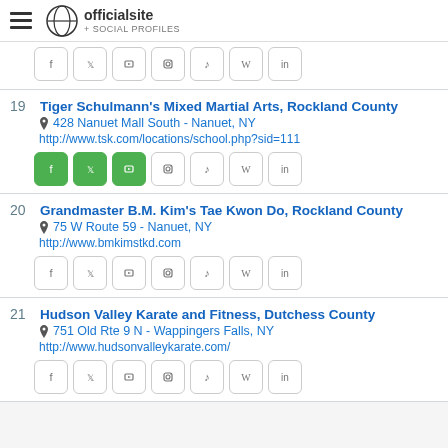officialsite + SOCIAL PROFILES
19 Tiger Schulmann's Mixed Martial Arts, Rockland County
428 Nanuet Mall South - Nanuet, NY
http://www.tsk.com/locations/school.php?sid=111
20 Grandmaster B.M. Kim's Tae Kwon Do, Rockland County
75 W Route 59 - Nanuet, NY
http://www.bmkimstkd.com
21 Hudson Valley Karate and Fitness, Dutchess County
751 Old Rte 9 N - Wappingers Falls, NY
http://www.hudsonvalleykarate.com/